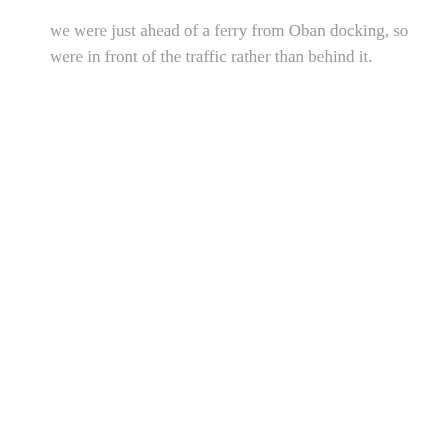we were just ahead of a ferry from Oban docking, so were in front of the traffic rather than behind it.